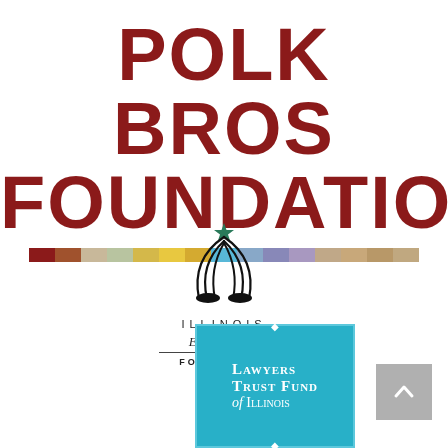[Figure (logo): Polk Bros Foundation logo — bold dark red text reading POLK BROS on first line, FOUNDATION on second line, followed by a multicolored horizontal stripe bar]
[Figure (logo): Illinois Equal Justice Foundation logo — stylized black line art of an arch with star on top, text ILLINOIS, Equal Justice, FOUNDATION below]
[Figure (logo): Lawyers Trust Fund of Illinois logo — teal/cyan square with white text: Lawyers Trust Fund of Illinois, small decorative dots top and bottom center]
[Figure (other): Gray scroll-to-top button with upward chevron arrow icon]